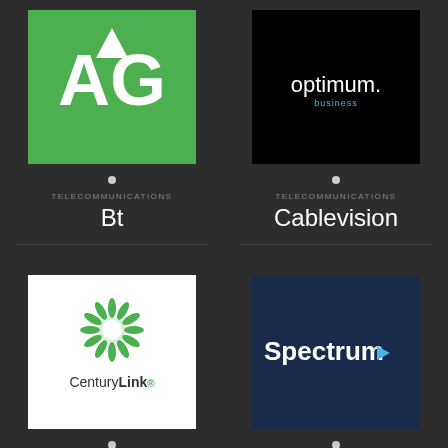[Figure (logo): AG logo - white AG letters on green background]
[Figure (logo): Optimum Business logo - white text on black background]
TELECOMMUNICATIONS
Bt
TELECOMMUNICATIONS
Cablevision
[Figure (logo): CenturyLink logo - green sunburst icon with CenturyLink text on white background]
[Figure (logo): Spectrum logo - white Spectrum text with blue arrow on dark navy background]
TELECOMMUNICATIONS
CenturyLink
TELECOMMUNICATIONS
Spectrum